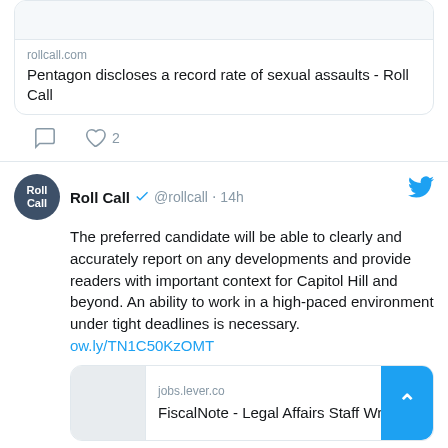[Figure (screenshot): Twitter/social media link card showing rollcall.com article: 'Pentagon discloses a record rate of sexual assaults - Roll Call' with like count of 2]
Roll Call @rollcall · 14h — The preferred candidate will be able to clearly and accurately report on any developments and provide readers with important context for Capitol Hill and beyond. An ability to work in a high-paced environment under tight deadlines is necessary. ow.ly/TN1C50KzOMT
[Figure (screenshot): Link card showing jobs.lever.co: FiscalNote - Legal Affairs Staff Writer]